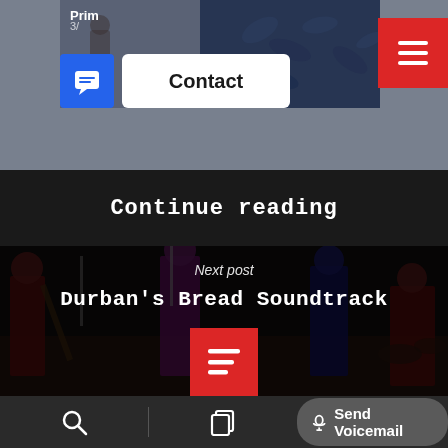[Figure (screenshot): Top navigation bar with 'Prim' label, blue chat button, white 'Contact' button, and red hamburger menu button over a dark photo strip with floral pattern]
Continue reading
[Figure (photo): Dark background photo of a band performing live on stage]
Next post
Durban's Bread Soundtrack
[Figure (screenshot): Red button with horizontal lines icon (hamburger/list icon)]
Search icon | Copy icon | Send Voicemail button